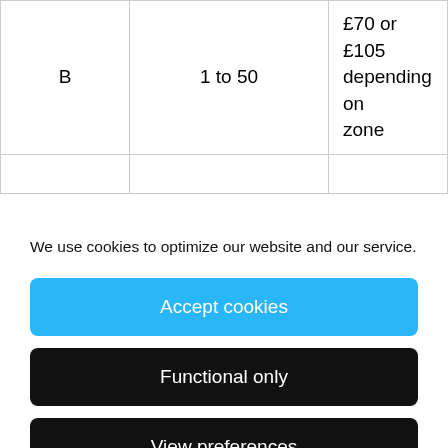| B | 1 to 50 | £70 or £105 depending on zone |
We use cookies to optimize our website and our service.
Accept cookies
Functional only
View preferences
to install 49 electric vehicle charging bays at 18 locations in Dover, Deal and Sandwich, including both DDC-owned public car parks and on-street with funding from the Office for Zero